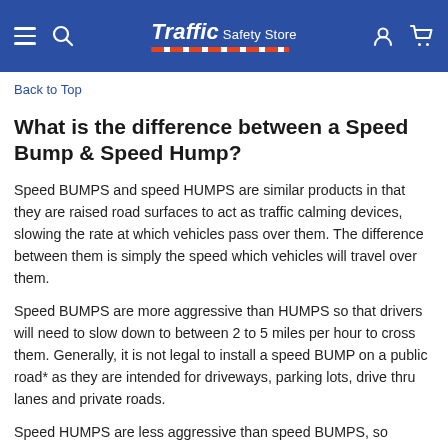Traffic Safety Store
Back to Top
What is the difference between a Speed Bump & Speed Hump?
Speed BUMPS and speed HUMPS are similar products in that they are raised road surfaces to act as traffic calming devices, slowing the rate at which vehicles pass over them. The difference between them is simply the speed which vehicles will travel over them.
Speed BUMPS are more aggressive than HUMPS so that drivers will need to slow down to between 2 to 5 miles per hour to cross them. Generally, it is not legal to install a speed BUMP on a public road* as they are intended for driveways, parking lots, drive thru lanes and private roads.
Speed HUMPS are less aggressive than speed BUMPS, so drivers do not have to slow down as much. Most drivers will be comfortable driving over a speed HUMP at a speed of between 10 to 20 miles per hour. Since they